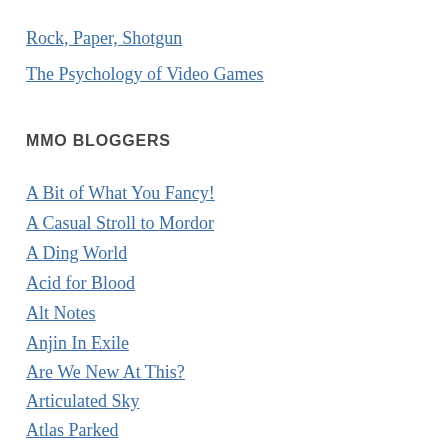Rock, Paper, Shotgun
The Psychology of Video Games
MMO BLOGGERS
A Bit of What You Fancy!
A Casual Stroll to Mordor
A Ding World
Acid for Blood
Alt Notes
Anjin In Exile
Are We New At This?
Articulated Sky
Atlas Parked
Avatars of Steel
Bind Point
Bio Break